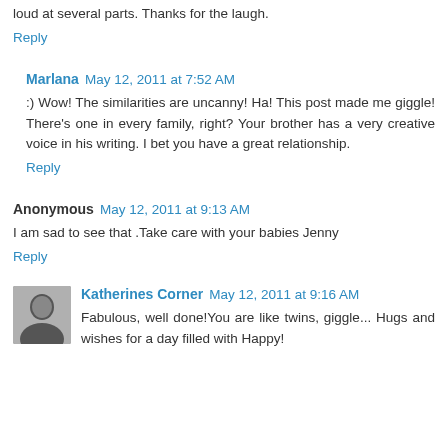loud at several parts. Thanks for the laugh.
Reply
Marlana  May 12, 2011 at 7:52 AM
:) Wow! The similarities are uncanny! Ha! This post made me giggle! There's one in every family, right? Your brother has a very creative voice in his writing. I bet you have a great relationship.
Reply
Anonymous  May 12, 2011 at 9:13 AM
I am sad to see that .Take care with your babies Jenny
Reply
Katherines Corner  May 12, 2011 at 9:16 AM
Fabulous, well done!You are like twins, giggle... Hugs and wishes for a day filled with Happy!